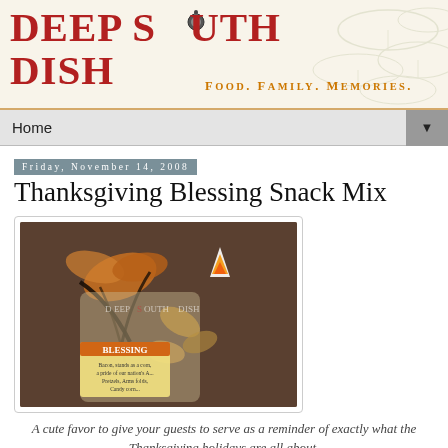DEEP SOUTH DISH — Food. Family. Memories.
Home
Friday, November 14, 2008
Thanksgiving Blessing Snack Mix
[Figure (photo): A clear gift bag filled with snack mix, tied with orange and black ribbon, with a tag reading 'BLESSING' and text about Thanksgiving, decorated with candy corn visible at top.]
A cute favor to give your guests to serve as a reminder of exactly what the Thanksgiving holidays are all about.
I have been making this snack mix for